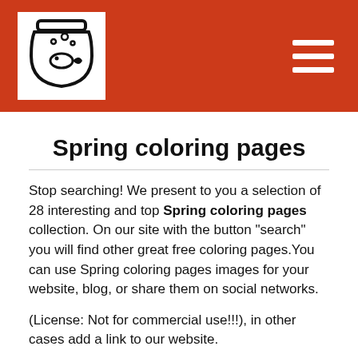Spring coloring pages — site header with logo and hamburger menu
Spring coloring pages
Stop searching! We present to you a selection of 28 interesting and top Spring coloring pages collection. On our site with the button "search" you will find other great free coloring pages.You can use Spring coloring pages images for your website, blog, or share them on social networks.
(License: Not for commercial use!!!), in other cases add a link to our website.
All children love coloring pages carrying prints of their favorite cartoon characters embellished on them. They love to spend their time in coloring such pages or sheets. Parents should also encourage their children to color such pages. These